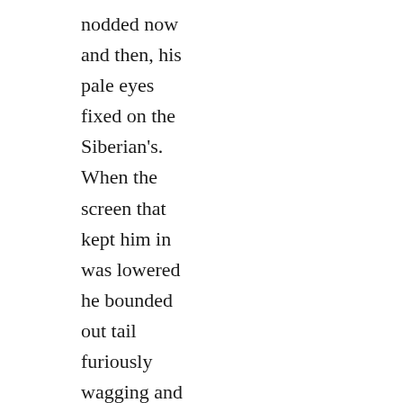nodded now and then, his pale eyes fixed on the Siberian's. When the screen that kept him in was lowered he bounded out tail furiously wagging and ears perked. The man